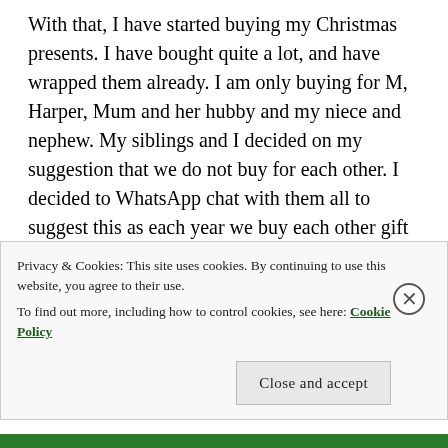With that, I have started buying my Christmas presents. I have bought quite a lot, and have wrapped them already. I am only buying for M, Harper, Mum and her hubby and my niece and nephew. My siblings and I decided on my suggestion that we do not buy for each other. I decided to WhatsApp chat with them all to suggest this as each year we buy each other gift cards. A few years ago I went out of my way and spent a fortune one them all, and did not receive a thanks or anything else for that matter. So, I decided why bother. With the loss of our wee dog, things gained perspective, and I was glad I made that decision, there is no love lost
Privacy & Cookies: This site uses cookies. By continuing to use this website, you agree to their use.
To find out more, including how to control cookies, see here: Cookie Policy
Close and accept